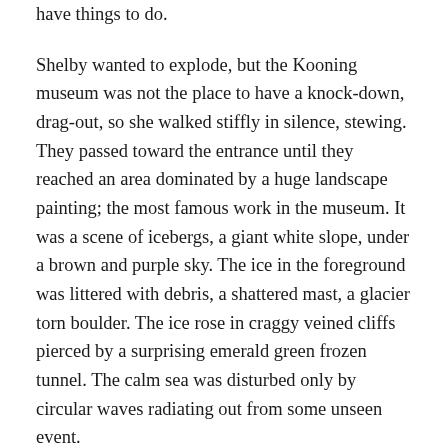have things to do.
Shelby wanted to explode, but the Kooning museum was not the place to have a knock-down, drag-out, so she walked stiffly in silence, stewing. They passed toward the entrance until they reached an area dominated by a huge landscape painting; the most famous work in the museum. It was a scene of icebergs, a giant white slope, under a brown and purple sky. The ice in the foreground was littered with debris, a shattered mast, a glacier torn boulder. The ice rose in craggy veined cliffs pierced by a surprising emerald green frozen tunnel. The calm sea was disturbed only by circular waves radiating out from some unseen event.
She could not stand it any more, she was so furious. Shelby pulled away and sat quickly down on a circular bench in front of the painting, listening to her side...